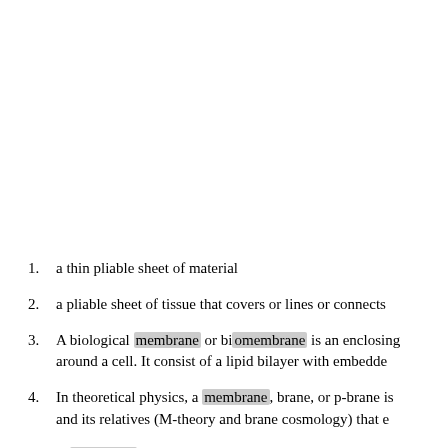a thin pliable sheet of material
a pliable sheet of tissue that covers or lines or connects
A biological membrane or biomembrane is an enclosing around a cell. It consist of a lipid bilayer with embedde
In theoretical physics, a membrane, brane, or p-brane is and its relatives (M-theory and brane cosmology) that e
A membrane is a layer of material which serves as a sel